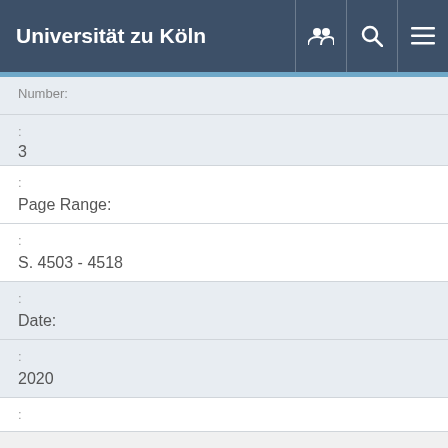Universität zu Köln
| Number: |  | 3 |
| : |  | Page Range: |
| : |  | S. 4503 - 4518 |
| : |  | Date: |
| : |  | 2020 |
| : |